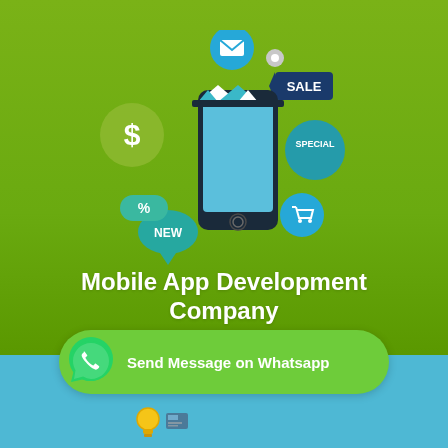[Figure (illustration): Mobile app development illustration on green background: a smartphone with a market stall awning (blue/white stripes), surrounded by icons — email envelope (blue circle), location pin, SALE tag (dark blue), SPECIAL badge (teal circle), shopping cart (blue circle), NEW badge (teal teardrop), percent sign (teal rounded rect), dollar sign (olive circle).]
Mobile App Development Company
[Figure (infographic): WhatsApp call-to-action button: green rounded rectangle with WhatsApp logo icon on left and text 'Send Message on Whatsapp' on right.]
Send Message on Whatsapp